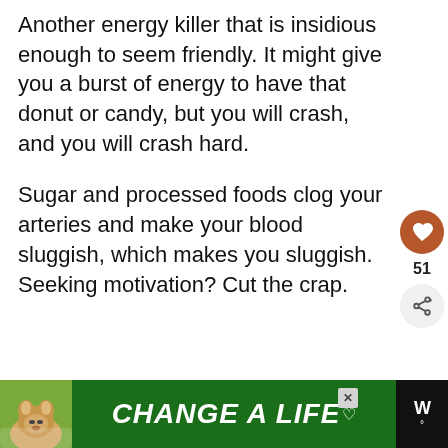Another energy killer that is insidious enough to seem friendly. It might give you a burst of energy to have that donut or candy, but you will crash, and you will crash hard.
Sugar and processed foods clog your arteries and make your blood sluggish, which makes you sluggish. Seeking motivation? Cut the crap.
[Figure (infographic): Heart/like button (brown circle with heart icon), share button, count 51]
[Figure (infographic): What's Next panel with thumbnail and text 'Top 5 Most Powerful...']
[Figure (infographic): Advertisement banner: green background with dog image, text CHANGE A LIFE with heart, close button, and dark logo on right]